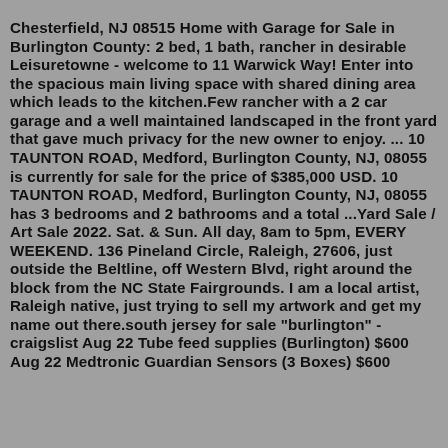Chesterfield, NJ 08515 Home with Garage for Sale in Burlington County: 2 bed, 1 bath, rancher in desirable Leisuretowne - welcome to 11 Warwick Way! Enter into the spacious main living space with shared dining area which leads to the kitchen.Few rancher with a 2 car garage and a well maintained landscaped in the front yard that gave much privacy for the new owner to enjoy. ... 10 TAUNTON ROAD, Medford, Burlington County, NJ, 08055 is currently for sale for the price of $385,000 USD. 10 TAUNTON ROAD, Medford, Burlington County, NJ, 08055 has 3 bedrooms and 2 bathrooms and a total ...Yard Sale / Art Sale 2022. Sat. & Sun. All day, 8am to 5pm, EVERY WEEKEND. 136 Pineland Circle, Raleigh, 27606, just outside the Beltline, off Western Blvd, right around the block from the NC State Fairgrounds. I am a local artist, Raleigh native, just trying to sell my artwork and get my name out there.south jersey for sale "burlington" - craigslist Aug 22 Tube feed supplies (Burlington) $600 Aug 22 Medtronic Guardian Sensors (3 Boxes) $600